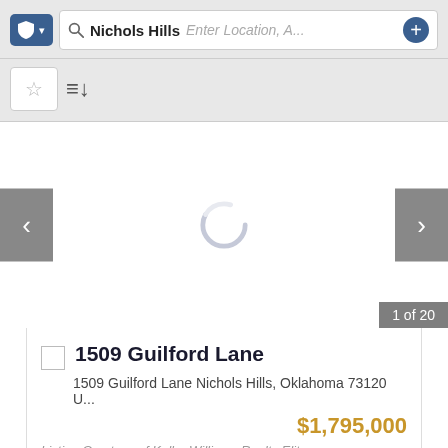Nichols Hills — search toolbar
1509 Guilford Lane
1509 Guilford Lane Nichols Hills, Oklahoma 73120 U...
$1,795,000
Listing Courtesy of Keller Williams Realty Elite
1 of 20